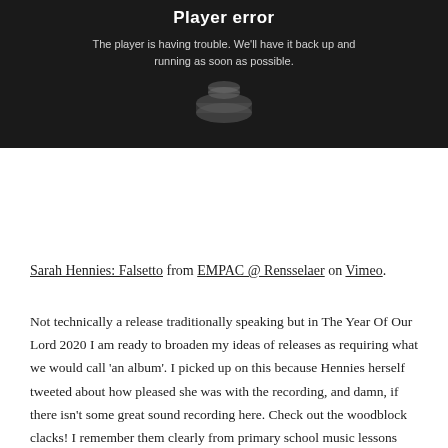[Figure (screenshot): Video player error screen with dark background showing 'Player error' heading and message 'The player is having trouble. We'll have it back up and running as soon as possible.' with a faint image of a drummer in the background.]
Sarah Hennies: Falsetto from EMPAC @ Rensselaer on Vimeo.
Not technically a release traditionally speaking but in The Year Of Our Lord 2020 I am ready to broaden my ideas of releases as requiring what we would call 'an album'. I picked up on this because Hennies herself tweeted about how pleased she was with the recording, and damn, if there isn't some great sound recording here. Check out the woodblock clacks! I remember them clearly from primary school music lessons and have not set eyes on one